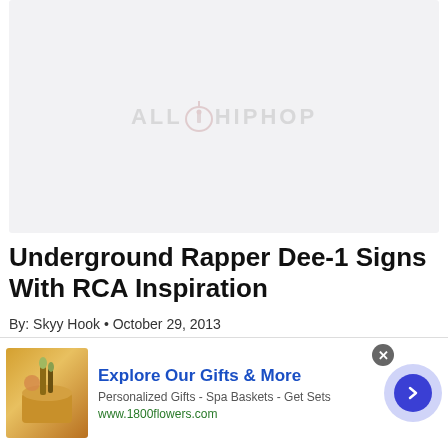[Figure (illustration): AllHipHop placeholder image with logo watermark on light gray background]
Underground Rapper Dee-1 Signs With RCA Inspiration
By: Skyy Hook • October 29, 2013
You know, quite often people stop us and ask us why
[Figure (other): Advertisement banner: Explore Our Gifts & More - Personalized Gifts - Spa Baskets - Get Sets - www.1800flowers.com]